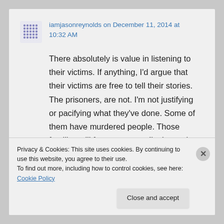iamjasonreynolds on December 11, 2014 at 10:32 AM
There absolutely is value in listening to their victims. If anything, I'd argue that their victims are free to tell their stories. The prisoners, are not. I'm not justifying or pacifying what they've done. Some of them have murdered people. Those families will forever mourn. I'm just trying my best to
Privacy & Cookies: This site uses cookies. By continuing to use this website, you agree to their use.
To find out more, including how to control cookies, see here: Cookie Policy
Close and accept